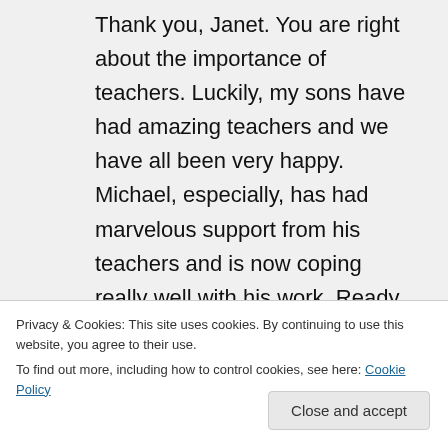Thank you, Janet. You are right about the importance of teachers. Luckily, my sons have had amazing teachers and we have all been very happy. Michael, especially, has had marvelous support from his teachers and is now coping really well with his work. Ready to mainstream next year for high school. Michael's grade 1 teacher identified his learning barrier. I thought she was a wonderful woman. I arranged with the art teacher to bring a Christmas tree
Privacy & Cookies: This site uses cookies. By continuing to use this website, you agree to their use.
To find out more, including how to control cookies, see here: Cookie Policy
Close and accept